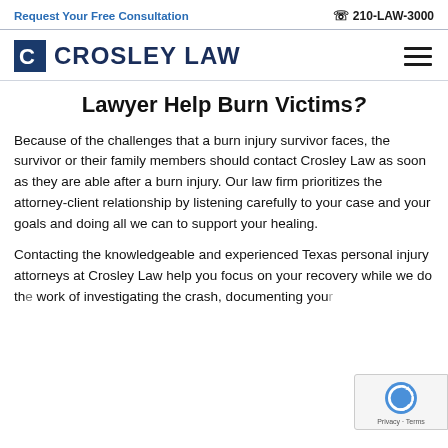Request Your Free Consultation   📞 210-LAW-3000
[Figure (logo): Crosley Law logo with blue C icon and firm name in navy uppercase text]
Lawyer Help Burn Victims?
Because of the challenges that a burn injury survivor faces, the survivor or their family members should contact Crosley Law as soon as they are able after a burn injury. Our law firm prioritizes the attorney-client relationship by listening carefully to your case and your goals and doing all we can to support your healing.
Contacting the knowledgeable and experienced Texas personal injury attorneys at Crosley Law help you focus on your recovery while we do the work of investigating the crash, documenting your